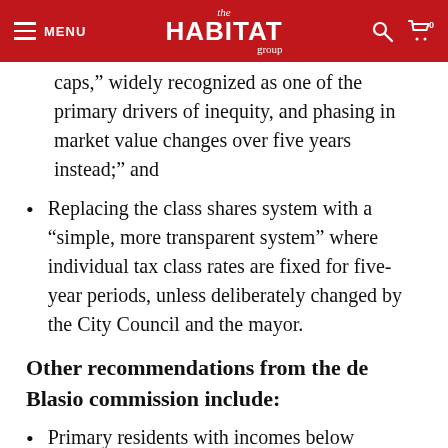MENU | the HABITAT group
caps,” widely recognized as one of the primary drivers of inequity, and phasing in market value changes over five years instead;” and
Replacing the class shares system with a “simple, more transparent system” where individual tax class rates are fixed for five-year periods, unless deliberately changed by the City Council and the mayor.
Other recommendations from the de Blasio commission include:
Primary residents with incomes below